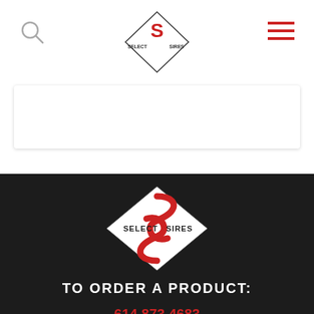Select Sires website header with logo, search icon, and hamburger menu
[Figure (logo): Select Sires logo in footer - diamond shape with red S-shaped snake logo and text SELECT SIRES]
TO ORDER A PRODUCT:
614.873.4683
info@selectsires.com
11740 US 42 N